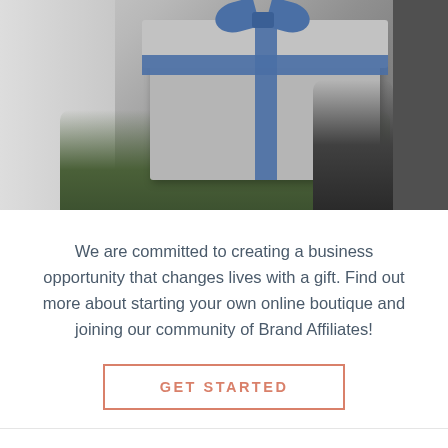[Figure (photo): Person holding a large gray gift box with blue ribbon and bow, photographed from behind/side against a light wall background]
We are committed to creating a business opportunity that changes lives with a gift. Find out more about starting your own online boutique and joining our community of Brand Affiliates!
GET STARTED
Shop it. Love it. Snap it.